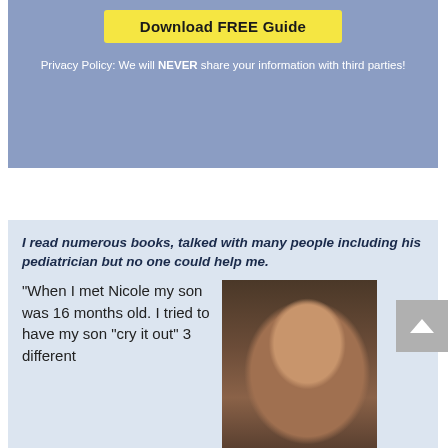Download FREE Guide
Privacy Policy: We will NEVER share your information with third parties!
I read numerous books, talked with many people including his pediatrician but no one could help me. "When I met Nicole my son was 16 months old. I tried to have my son "cry it out" 3 different
[Figure (photo): Photo of a smiling woman with dark curly hair holding a young toddler boy wearing a hat]